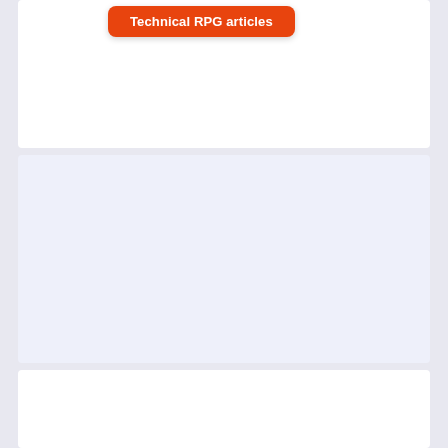[Figure (screenshot): Orange/red rounded rectangle button labeled 'Technical RPG articles' on a white background panel]
[Figure (screenshot): Light blue/lavender empty panel section]
[Figure (screenshot): White empty panel section at the bottom]